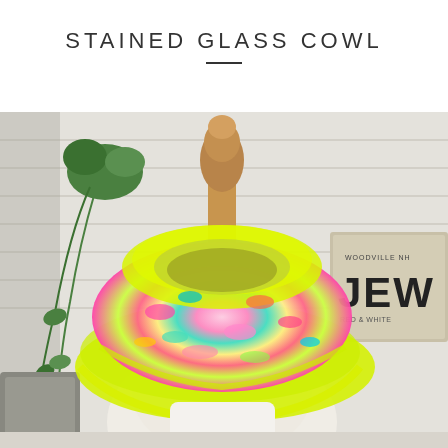STAINED GLASS COWL
[Figure (photo): A colorful knitted cowl with neon yellow/lime green edges and multicolor speckled body featuring pink, teal, orange, and yellow, draped on a white dress form mannequin with a wooden head/neck. Background shows white shiplap wall panels and green hanging plant on left, a vintage sign on the right reading 'WOODVILLE NH JEWELERS RED & WHITE'.]